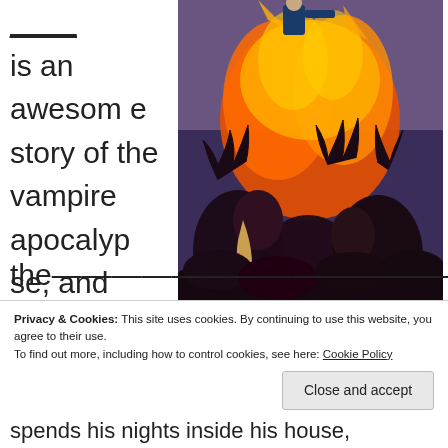is an awesome story of the vampire apocalypse, and
[Figure (illustration): Dark fantasy illustration showing a heroic figure standing above a crowd of reaching hands and vampires amid flames and fire, dramatic scene of vampire apocalypse]
the...
Privacy & Cookies: This site uses cookies. By continuing to use this website, you agree to their use.
To find out more, including how to control cookies, see here: Cookie Policy
Close and accept
spends his nights inside his house,